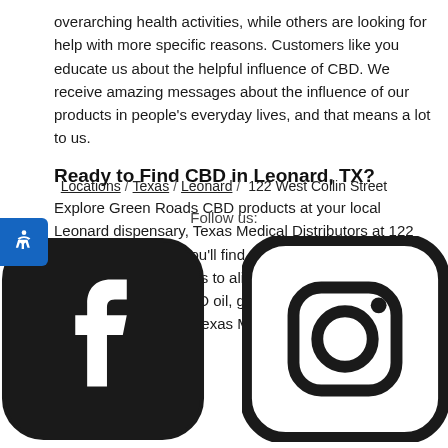overarching health activities, while others are looking for help with more specific reasons. Customers like you educate us about the helpful influence of CBD. We receive amazing messages about the influence of our products in people's everyday lives, and that means a lot to us.
Ready to Find CBD in Leonard, TX?
Explore Green Roads CBD products at your local Leonard dispensary, Texas Medical Distributors at 122 West Collin Street. You'll find a whole catalog of products crafted in specific ways to align with your health habits. Buy Green Roads CBD oil, gummies, capsules, drops, edibles, and more at Texas Medical Distributors–a local Leonard CBD store.
Locations / Texas / Leonard / 122 West Collin Street
Follow us:
[Figure (logo): Facebook and Instagram social media icons]